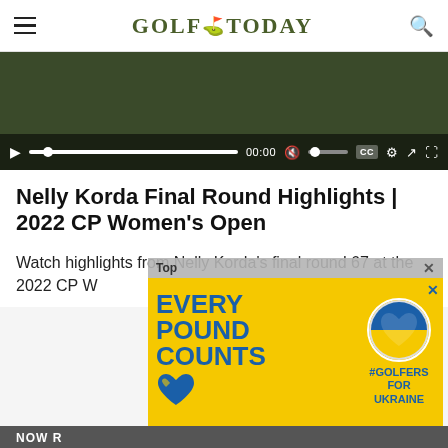Golf Today
[Figure (screenshot): Video player with dark green background and playback controls: play button, progress bar at 00:00, mute button, volume slider, CC button, settings gear, external link, and fullscreen icons on dark control bar.]
Nelly Korda Final Round Highlights | 2022 CP Women's Open
Watch highlights from Nelly Korda's final round 67 at the 2022 CP W...
[Figure (infographic): Yellow advertisement banner with text 'EVERY POUND COUNTS' in blue letters and '#GOLFERS FOR UKRAINE' with Ukrainian flag heart badge on the right. Close (X) button in top right.]